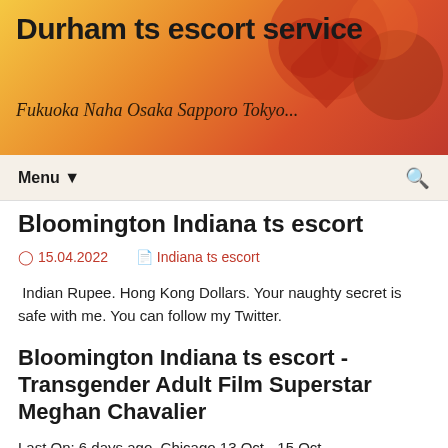Durham ts escort service
Fukuoka Naha Osaka Sapporo Tokyo...
Menu ▼
Bloomington Indiana ts escort
15.04.2022   Indiana ts escort
Indian Rupee. Hong Kong Dollars. Your naughty secret is safe with me. You can follow my Twitter.
Bloomington Indiana ts escort - Transgender Adult Film Superstar Meghan Chavalier
Last On: 6 days ago. Chicago 13 Oct - 15 Oct.